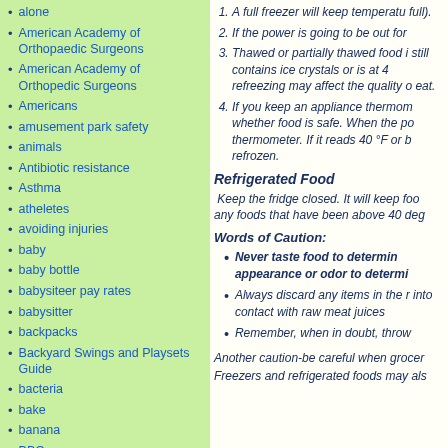alone
American Academy of Orthopaedic Surgeons
American Academy of Orthopedic Surgeons
Americans
amusement park safety
animals
Antibiotic resistance
Asthma
atheletes
avoiding injuries
baby
baby bottle
babysiteer pay rates
babysitter
backpacks
Backyard Swings and Playsets Guide
bacteria
bake
banana
BBQ
bed time
bedtime
bedtime routines
A full freezer will keep temperature (keep it full).
If the power is going to be out for
Thawed or partially thawed food in still contains ice crystals or is at 4 refreezing may affect the quality drink eat.
If you keep an appliance thermom whether food is safe. When the pc thermometer. If it reads 40 °F or b refrozen.
Refrigerated Food
Keep the fridge closed. It will keep foo any foods that have been above 40 deg
Words of Caution:
Never taste food to determin appearance or odor to determi
Always discard any items in the r into contact with raw meat juices
Remember, when in doubt, throw
Another caution-be careful when grocer
Freezers and refrigerated foods may als